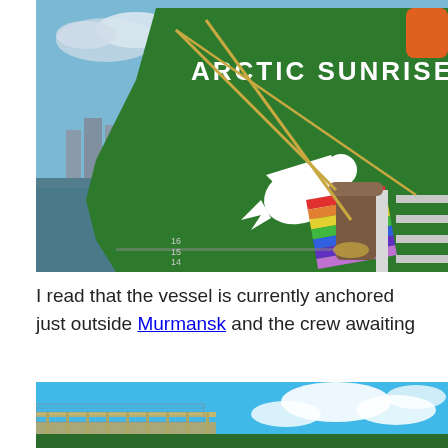[Figure (photo): A green Greenpeace ship named 'ARCTIC SUNRISE' docked at a pier. The bow of the ship is visible with the ship name in white letters. A rainbow-colored dove logo is painted on the hull. Mooring ropes are visible, along with a rusty bollard on the dock. A city skyline is visible in the background across the water.]
I read that the vessel is currently anchored just outside Murmansk and the crew awaiting
[Figure (photo): Partial view of a ship's deck railing against a bright blue sky with scattered white clouds.]